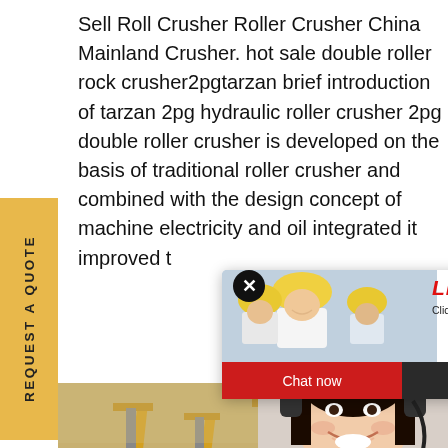Sell Roll Crusher Roller Crusher China Mainland Crusher. hot sale double roller rock crusher2pgtarzan brief introduction of tarzan 2pg hydraulic roller crusher 2pg double roller crusher is developed on the basis of traditional roller crusher and combined with the design concept of machine electricity and oil integrated it improved t...
[Figure (screenshot): Live Chat popup with workers in yellow helmets, chat now and chat later buttons]
[Figure (photo): Mining/crushing equipment yard with yellow conveyor structures, sandy desert environment]
[Figure (photo): Customer service representative with headset, smiling]
REQUEST A QUOTE
Have any requests, click here.
Quotation